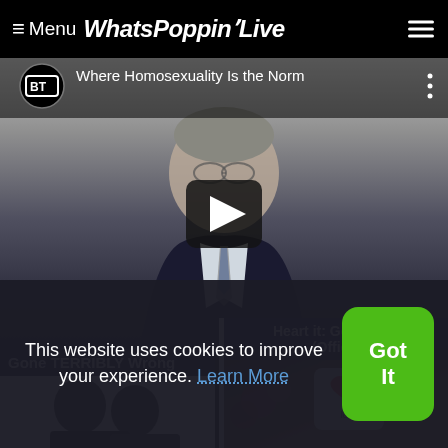≡ Menu WhatsPoppinLive
[Figure (screenshot): YouTube-style video thumbnail showing a person in a dark sweater and striped tie, with BT logo and title 'Where Homosexuality Is the Norm'. Large play button overlay in center.]
Gone TERRIBLY Wrong
Heart it: Goodboys (Officia
[Figure (photo): Silhouette of two people from behind (card thumbnails)]
[Figure (photo): Heart-shaped ornament with 'love' written on it, flowers in background]
This website uses cookies to improve your experience. Learn More
Got It